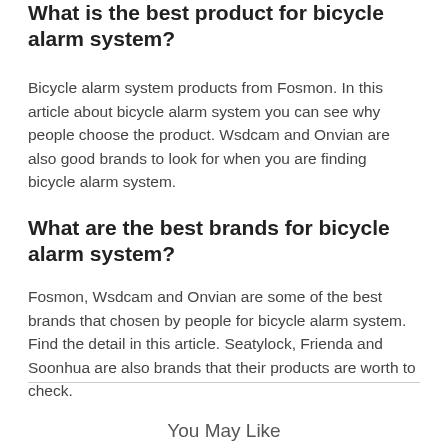What is the best product for bicycle alarm system?
Bicycle alarm system products from Fosmon. In this article about bicycle alarm system you can see why people choose the product. Wsdcam and Onvian are also good brands to look for when you are finding bicycle alarm system.
What are the best brands for bicycle alarm system?
Fosmon, Wsdcam and Onvian are some of the best brands that chosen by people for bicycle alarm system. Find the detail in this article. Seatylock, Frienda and Soonhua are also brands that their products are worth to check.
You May Like